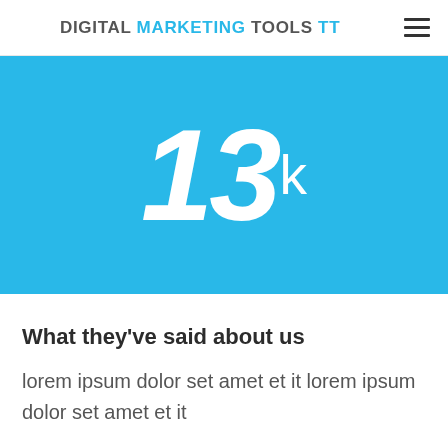DIGITAL MARKETING TOOLS TT
[Figure (infographic): Large bold italic white text '13k' on a sky-blue background, representing a statistic (13 thousand)]
What they've said about us
lorem ipsum dolor set amet et it lorem ipsum dolor set amet et it